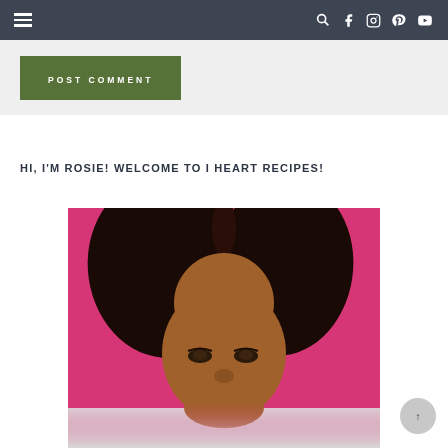Navigation bar with hamburger menu and social icons (search, facebook, instagram, pinterest, youtube)
[Figure (other): POST COMMENT button in olive green]
HI, I'M ROSIE! WELCOME TO I HEART RECIPES!
[Figure (photo): Portrait photo of Rosie against a pink background, woman with long dark hair smiling]